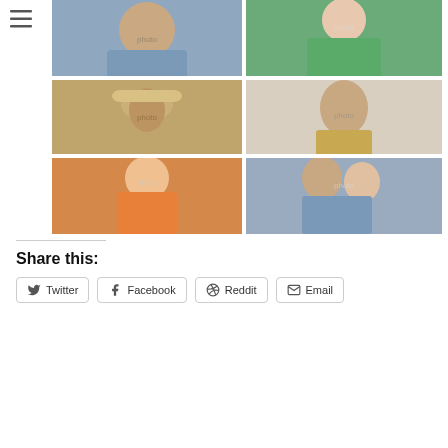[Figure (photo): Navigation menu icon (three horizontal lines / hamburger icon)]
[Figure (photo): Grid of 6 photos: top-left man in blue sweater, top-right woman in green top, middle-left man in hat at beach restaurant, middle-right man in patterned shirt, bottom-left woman in orange top, bottom-right couple embracing]
Share this:
Twitter
Facebook
Reddit
Email